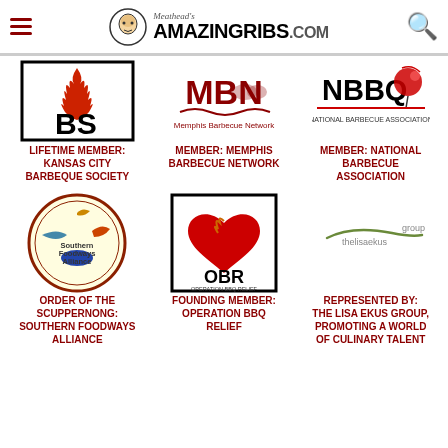Meathead's AmazingRibs.com
[Figure (logo): Kansas City Barbeque Society logo - KCBS with flame]
LIFETIME MEMBER: Kansas City Barbeque Society
[Figure (logo): Memphis Barbecue Network logo - MBN]
MEMBER: Memphis Barbecue Network
[Figure (logo): National Barbecue Association logo - NBBQ]
MEMBER: National Barbecue Association
[Figure (logo): Southern Foodways Alliance logo - circular badge]
ORDER OF THE SCUPPERNONG: Southern Foodways Alliance
[Figure (logo): Operation BBQ Relief logo - OBR with heart]
FOUNDING MEMBER: Operation BBQ Relief
[Figure (logo): The Lisa Ekus Group logo]
REPRESENTED BY: The Lisa Ekus Group, Promoting A World Of Culinary Talent